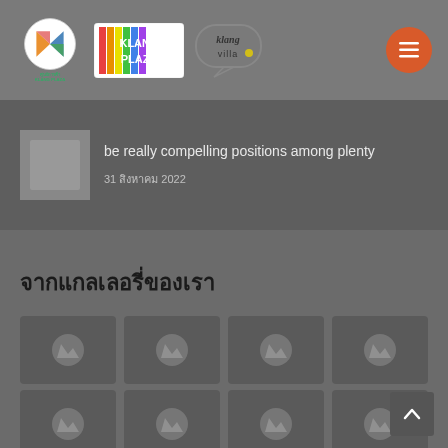Klang Plaza website header with logos: Klang Plaza circular logo, KLANG PLAZA text logo, Klang Villa logo, and hamburger menu button
be really compelling positions among plenty
31 สิงหาคม 2022
จากแกลเลอรี่ของเรา
[Figure (photo): Gallery grid with placeholder image thumbnails arranged in two rows of four items]
[Figure (other): Back to top button with upward arrow icon]